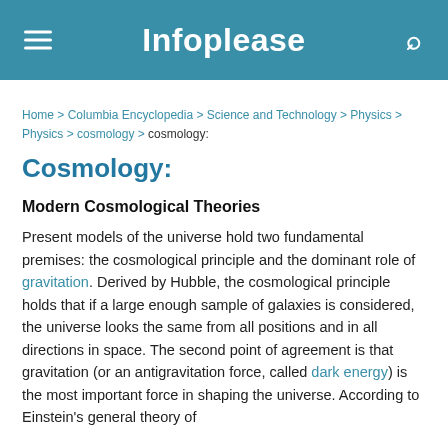Infoplease
Home > Columbia Encyclopedia > Science and Technology > Physics > Physics > cosmology > cosmology:
Cosmology:
Modern Cosmological Theories
Present models of the universe hold two fundamental premises: the cosmological principle and the dominant role of gravitation. Derived by Hubble, the cosmological principle holds that if a large enough sample of galaxies is considered, the universe looks the same from all positions and in all directions in space. The second point of agreement is that gravitation (or an antigravitation force, called dark energy) is the most important force in shaping the universe. According to Einstein's general theory of relativity, which is a geometric interpretation of gravitation,